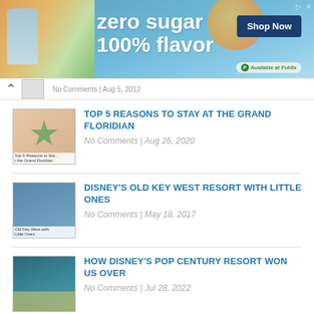[Figure (screenshot): Snapple advertisement banner: zero sugar 100% flavor, Shop Now button, Available at Publix]
[Figure (screenshot): Navigation area with back arrow and thumbnail]
TOP 5 REASONS TO STAY AT THE GRAND FLORIDIAN
No Comments | Aug 26, 2020
DISNEY'S OLD KEY WEST RESORT WITH LITTLE ONES
No Comments | May 18, 2017
HOW DISNEY'S POP CENTURY RESORT WON US OVER
No Comments | Jul 28, 2022
ABOUT THE AUTHOR
Laura Sleeper